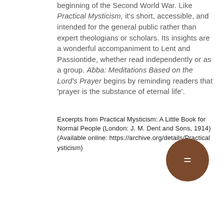beginning of the Second World War. Like Practical Mysticism, it's short, accessible, and intended for the general public rather than expert theologians or scholars. Its insights are a wonderful accompaniment to Lent and Passiontide, whether read independently or as a group. Abba: Meditations Based on the Lord's Prayer begins by reminding readers that 'prayer is the substance of eternal life'.
Excerpts from Practical Mysticism: A Little Book for Normal People (London: J. M. Dent and Sons, 1914) (Available online: https://archive.org/details/Practicalysticism)